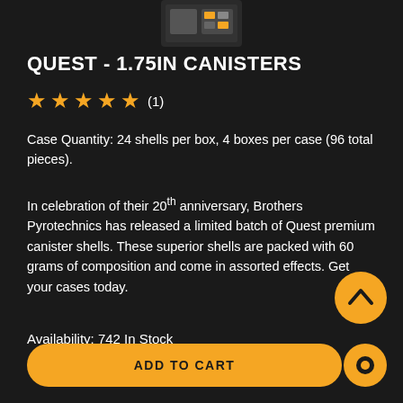[Figure (photo): Product image thumbnail at top center showing fireworks/canister shells packaging]
QUEST - 1.75IN CANISTERS
★★★★★ (1)
Case Quantity: 24 shells per box, 4 boxes per case (96 total pieces).
In celebration of their 20th anniversary, Brothers Pyrotechnics has released a limited batch of Quest premium canister shells. These superior shells are packed with 60 grams of composition and come in assorted effects. Get your cases today.
Availability: 742 In Stock
Our Price: $362.00 (96 piece case)
ADD TO CART